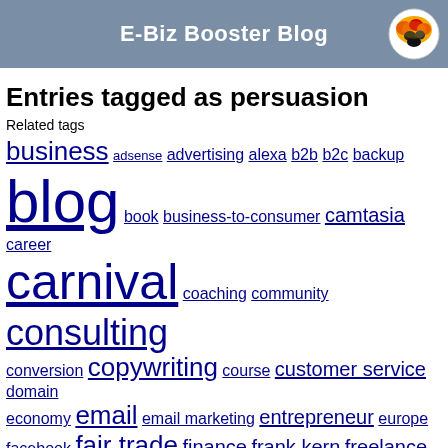E-Biz Booster Blog
Entries tagged as persuasion
Related tags
business adsense advertising alexa b2b b2c backup blog book business-to-consumer camtasia career carnival coaching community consulting conversion copywriting course customer service domain economy email email marketing entrepreneur europe facebook fair trade finance frank kern freelance ftc godaddy google home business html internet investing leadership legal management marketing miscellaneous money networking operations promotion sales video business strategies motivational